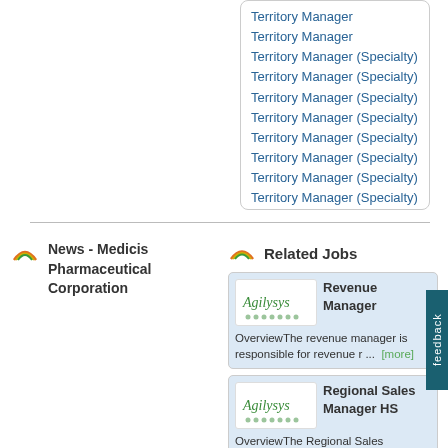Territory Manager
Territory Manager
Territory Manager (Specialty)
Territory Manager (Specialty)
Territory Manager (Specialty)
Territory Manager (Specialty)
Territory Manager (Specialty)
Territory Manager (Specialty)
Territory Manager (Specialty)
Territory Manager (Specialty)
News - Medicis Pharmaceutical Corporation
Related Jobs
Revenue Manager
OverviewThe revenue manager is responsible for revenue r ... [more]
Regional Sales Manager HS
OverviewThe Regional Sales Manager is